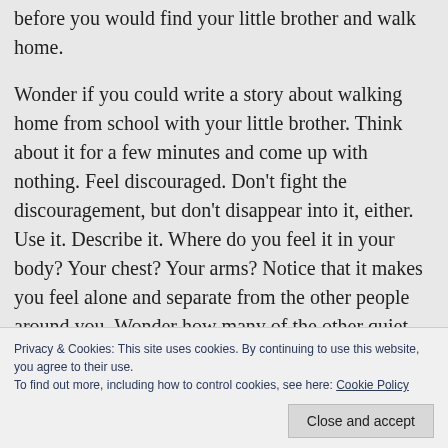before you would find your little brother and walk home.
Wonder if you could write a story about walking home from school with your little brother. Think about it for a few minutes and come up with nothing. Feel discouraged. Don’t fight the discouragement, but don’t disappear into it, either. Use it. Describe it. Where do you feel it in your body? Your chest? Your arms? Notice that it makes you feel alone and separate from the other people around you. Wonder how many of the other quiet people in the library feel discouraged. feel
who felt alone at recess. Write it for the grown ups
Privacy & Cookies: This site uses cookies. By continuing to use this website, you agree to their use.
To find out more, including how to control cookies, see here: Cookie Policy